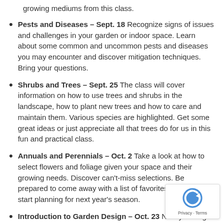growing mediums from this class.
Pests and Diseases – Sept. 18 Recognize signs of issues and challenges in your garden or indoor space. Learn about some common and uncommon pests and diseases you may encounter and discover mitigation techniques. Bring your questions.
Shrubs and Trees – Sept. 25 The class will cover information on how to use trees and shrubs in the landscape, how to plant new trees and how to care and maintain them. Various species are highlighted. Get some great ideas or just appreciate all that trees do for us in this fun and practical class.
Annuals and Perennials – Oct. 2 Take a look at how to select flowers and foliage given your space and their growing needs. Discover can't-miss selections. Be prepared to come away with a list of favorites just in time to start planning for next year's season.
Introduction to Garden Design – Oct. 23 Now you've got an idea of what plants you can select will work best with your garden space, the next step is